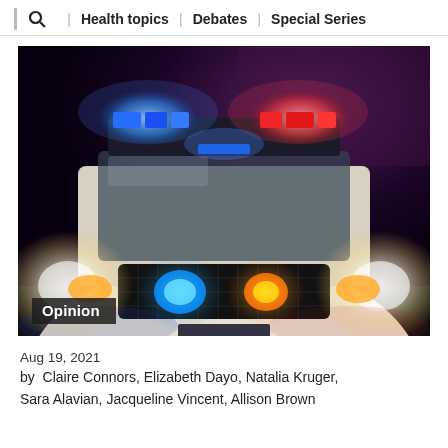Health topics | Debates | Special Series
[Figure (photo): Front view of a police car at night with blue and red flashing lights on the roof bar and additional blue and amber/red lights in the front grille. The vehicle headlights are on. Dark night sky in background. An 'Opinion' badge appears in the lower-left corner of the image.]
Aug 19, 2021
by  Claire Connors, Elizabeth Dayo, Natalia Kruger, Sara Alavian, Jacqueline Vincent, Allison Brown